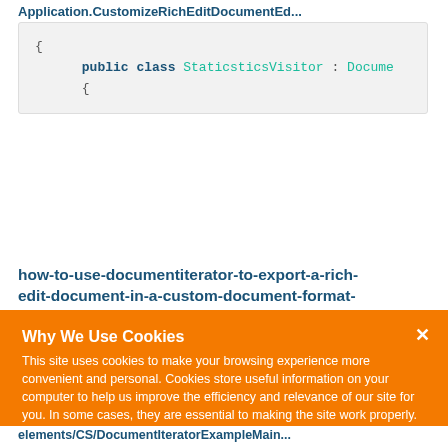Application.CustomizeRichEditDocumentEd...
[Figure (screenshot): Code block showing C# class definition: public class StaticsticsVisitor : Docume { with gray background]
how-to-use-documentiterator-to-export-a-rich-edit-document-in-a-custom-document-format-t632549/CS/DocumentIterator
Why We Use Cookies
This site uses cookies to make your browsing experience more convenient and personal. Cookies store useful information on your computer to help us improve the efficiency and relevance of our site for you. In some cases, they are essential to making the site work properly. By accessing this site, you consent to the use of cookies. For more information, refer to DevExpress' privacy policy and cookie policy.
I UNDERSTAND
elements/CS/DocumentIteratorExampleMain...